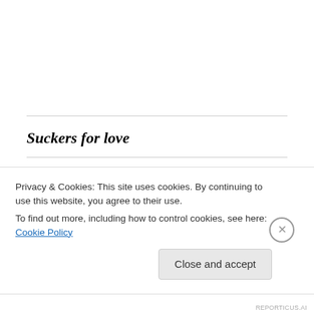Suckers for love
Gone girl. What’s worse than the melodramatic 1996 flick “Ransom” featuring an increasingly loud and obnoxious Mel Gibson? Starring in a real-world version yourself! Officials are warning that kidnapping scams
Privacy & Cookies: This site uses cookies. By continuing to use this website, you agree to their use.
To find out more, including how to control cookies, see here: Cookie Policy
Close and accept